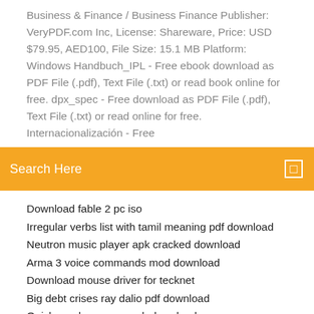Business & Finance / Business Finance Publisher: VeryPDF.com Inc, License: Shareware, Price: USD $79.95, AED100, File Size: 15.1 MB Platform: Windows Handbuch_IPL - Free ebook download as PDF File (.pdf), Text File (.txt) or read book online for free. dpx_spec - Free download as PDF File (.pdf), Text File (.txt) or read online for free. Internacionalización - Free
Search Here
Download fable 2 pc iso
Irregular verbs list with tamil meaning pdf download
Neutron music player apk cracked download
Arma 3 voice commands mod download
Download mouse driver for tecknet
Big debt crises ray dalio pdf download
Quickpanel manager apk download
Break and download a torrent
Download for epson 4730 printer driver